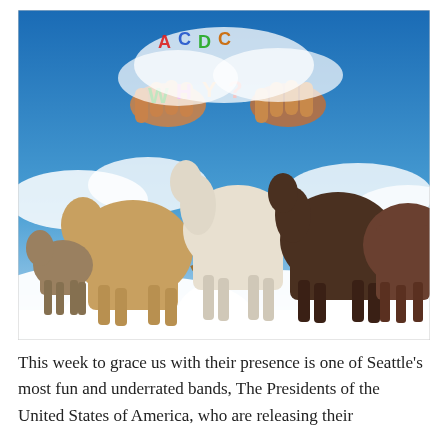[Figure (photo): Album artwork or promotional image showing a herd of horses standing on clouds against a blue sky, with colorful painted hands holding letters spelling 'WHY?' in the upper portion of the image.]
This week to grace us with their presence is one of Seattle's most fun and underrated bands, The Presidents of the United States of America, who are releasing their